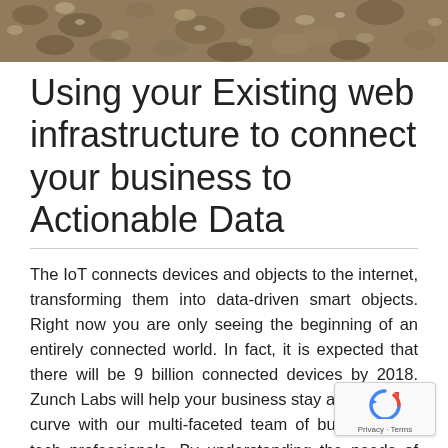[Figure (photo): Hero banner photo showing rocks and gravel texture, earthy tones of brown and grey]
Using your Existing web infrastructure to connect your business to Actionable Data
The IoT connects devices and objects to the internet, transforming them into data-driven smart objects. Right now you are only seeing the beginning of an entirely connected world. In fact, it is expected that there will be 9 billion connected devices by 2018. Zunch Labs will help your business stay ahead of the curve with our multi-faceted team of business and tech professionals. By understanding the needs of your business, we will an IoT solution that delivers results.
[Figure (logo): Google reCAPTCHA badge with circular arrow logo and Privacy/Terms links]